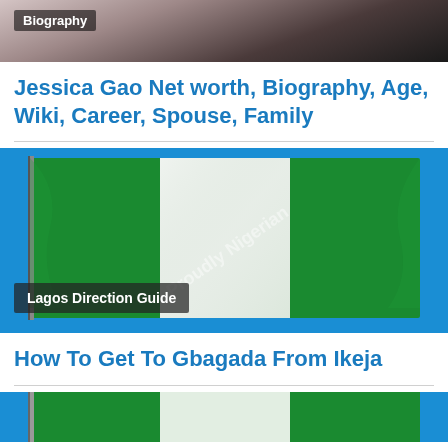[Figure (photo): Partial photo of a person with dark hair, with a 'Biography' label badge overlaid in the top-left corner]
Jessica Gao Net worth, Biography, Age, Wiki, Career, Spouse, Family
[Figure (photo): Nigerian flag waving against blue sky with 'Proudly Nigerian' watermark text overlay and 'Lagos Direction Guide' badge in bottom-left]
How To Get To Gbagada From Ikeja
[Figure (photo): Partial view of Nigerian flag, cropped at bottom of page]